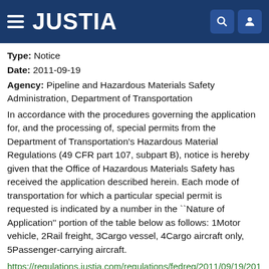JUSTIA
Type: Notice
Date: 2011-09-19
Agency: Pipeline and Hazardous Materials Safety Administration, Department of Transportation
In accordance with the procedures governing the application for, and the processing of, special permits from the Department of Transportation's Hazardous Material Regulations (49 CFR part 107, subpart B), notice is hereby given that the Office of Hazardous Materials Safety has received the application described herein. Each mode of transportation for which a particular special permit is requested is indicated by a number in the ``Nature of Application'' portion of the table below as follows: 1Motor vehicle, 2Rail freight, 3Cargo vessel, 4Cargo aircraft only, 5Passenger-carrying aircraft.
https://regulations.justia.com/regulations/fedreg/2011/09/19/2011-23819.html